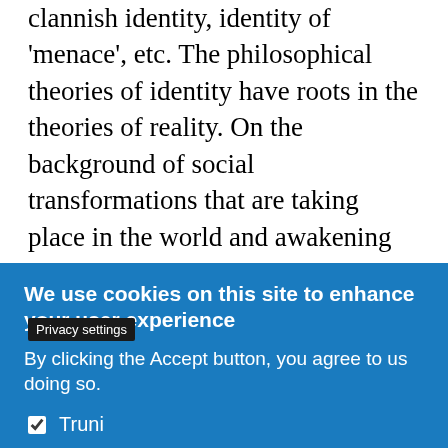clannish identity, identity of 'menace', etc. The philosophical theories of identity have roots in the theories of reality. On the background of social transformations that are taking place in the world and awakening from the optimistic multiculturalism, they get back to the centre of attention. The most inspirational discourses of this topic can be found on the background of disputes of communitarism, liberalism, and multiculturalism. The questions about the understanding of the flexibility of human identity, about its thematisation and visualisation, its utility and inutility, and about demands that the pluralization puts on it have come back to the centre of philosophical dis...
Privacy settings
We use cookies on this site to enhance your user experience
By clicking the Accept button, you agree to us doing so.
Truni